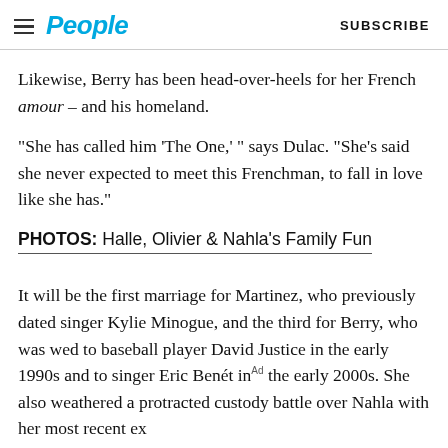People   SUBSCRIBE
Likewise, Berry has been head-over-heels for her French amour – and his homeland.
“She has called him ‘The One,’ ” says Dulac. “She’s said she never expected to meet this Frenchman, to fall in love like she has.”
PHOTOS: Halle, Olivier & Nahla’s Family Fun
It will be the first marriage for Martinez, who previously dated singer Kylie Minogue, and the third for Berry, who was wed to baseball player David Justice in the early 1990s and to singer Eric Benét in the early 2000s. She also weathered a protracted custody battle over Nahla with her most recent ex